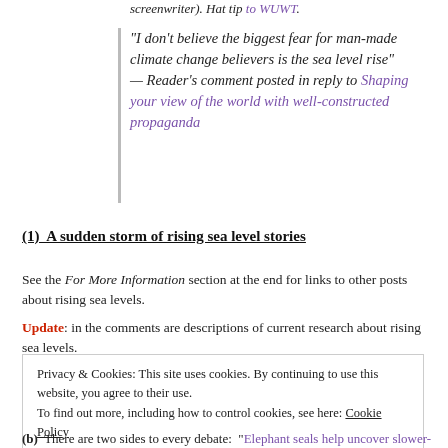screenwriter). Hat tip to WUWT.
“I don’t believe the biggest fear for man-made climate change believers is the sea level rise” — Reader’s comment posted in reply to Shaping your view of the world with well-constructed propaganda
(1)  A sudden storm of rising sea level stories
See the For More Information section at the end for links to other posts about rising sea levels.
Update: in the comments are descriptions of current research about rising sea levels.
Privacy & Cookies: This site uses cookies. By continuing to use this website, you agree to their use.
To find out more, including how to control cookies, see here: Cookie Policy
Close and accept
(b)  There are two sides to every debate: “Elephant seals help uncover slower-